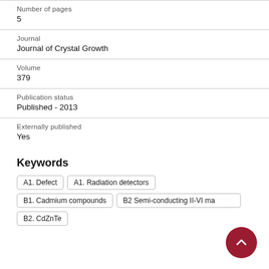Number of pages
5
Journal
Journal of Crystal Growth
Volume
379
Publication status
Published - 2013
Externally published
Yes
Keywords
A1. Defect
A1. Radiation detectors
B1. Cadmium compounds
B2 Semi-conducting II-VI materials
B2. CdZnTe